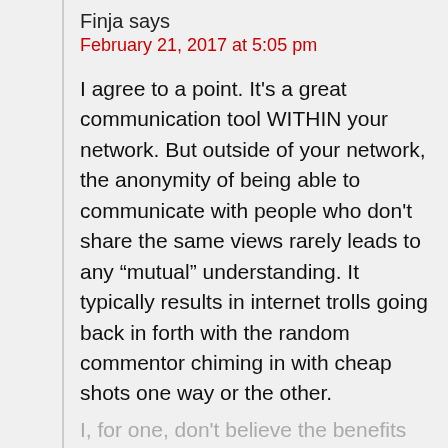Finja says
February 21, 2017 at 5:05 pm
I agree to a point. It's a great communication tool WITHIN your network. But outside of your network, the anonymity of being able to communicate with people who don't share the same views rarely leads to any “mutual” understanding. It typically results in internet trolls going back in forth with the random commentor chiming in with cheap shots one way or the other.
I, for one, don't believe the benefits outweigh the flaws for the name...